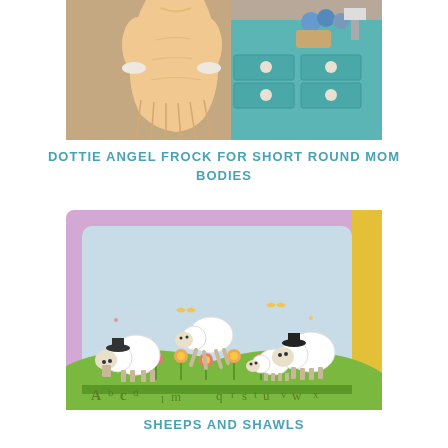[Figure (photo): A peach/cream Victorian-style dress displayed on a form in front of a blue dresser with yarn balls and baskets in the background]
DOTTIE ANGEL FROCK FOR SHORT ROUND MOM BODIES
[Figure (photo): A cross-stitch needlework piece featuring sheep/lambs on a green hill with flowers and alphabet letters, framed with a purple/lavender border]
SHEEPS AND SHAWLS